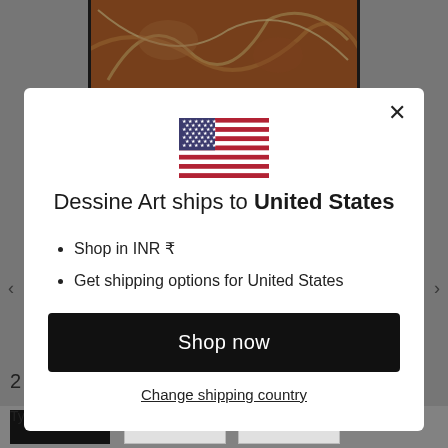[Figure (screenshot): Background of a webpage showing an art poster product page, partially visible behind a modal dialog. An art image is visible at top center, and 'Type: Art Poster' text is at the bottom.]
[Figure (illustration): US flag SVG illustration displayed at the top center of the modal dialog.]
Dessine Art ships to United States
Shop in INR ₹
Get shipping options for United States
Shop now
Change shipping country
Type: Art Poster